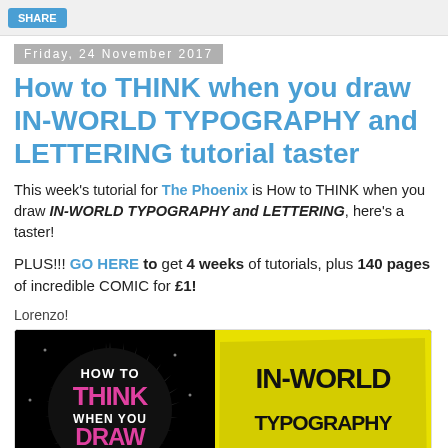SHARE
Friday, 24 November 2017
How to THINK when you draw IN-WORLD TYPOGRAPHY and LETTERING tutorial taster
This week's tutorial for The Phoenix is How to THINK when you draw IN-WORLD TYPOGRAPHY and LETTERING, here's a taster!
PLUS!!! GO HERE to get 4 weeks of tutorials, plus 140 pages of incredible COMIC for £1!
Lorenzo!
[Figure (illustration): Book cover image showing 'How to Think When You Draw' on the left with a starburst design and pink/white text on black background, and 'IN-WORLD TYPOGRAPHY' on the right with black bold text on yellow background.]